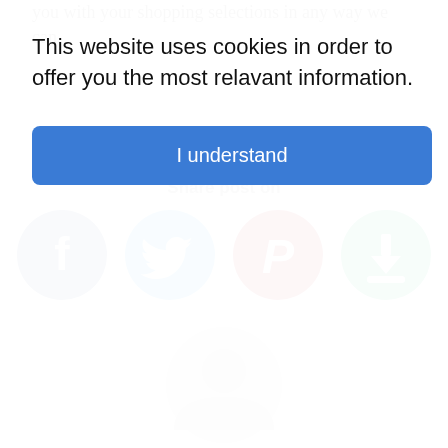you with your shopping selections in any way we can.
Share post on
[Figure (infographic): Four social media share buttons: Facebook (blue circle with f), Twitter (light blue circle with bird), Pinterest (dark red circle with P), and a green download/save button]
[Figure (photo): Gray default user avatar / profile picture placeholder]
This website uses cookies in order to offer you the most relavant information.
I understand